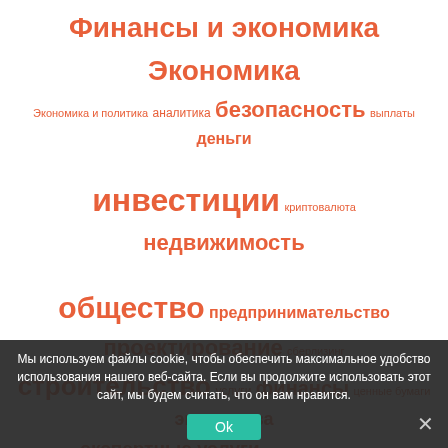[Figure (infographic): Tag cloud in Russian with topics related to finance and economics. Top section tags: Финансы и экономика, Экономика, Экономика и политика, аналитика, безопасность, выплаты, деньги, инвестиции, криптовалюта, недвижимость, общество, предпринимательство, проектирование, сберлизинг, строительство, услуги, финансы, ценные бумаги, экспертиза, экспертные услуги, юридические услуги. Bottom section tags: IT-шники, Бухгалтеры, Все, Искусствоведы, Маркетологи, Музыканты, Политики, Предприниматели, Психологи, Риелторы, Социологи, Экологи, Экономисты, Юристы.]
Мы используем файлы cookie, чтобы обеспечить максимальное удобство использования нашего веб-сайта. Если вы продолжите использовать этот сайт, мы будем считать, что он вам нравится.